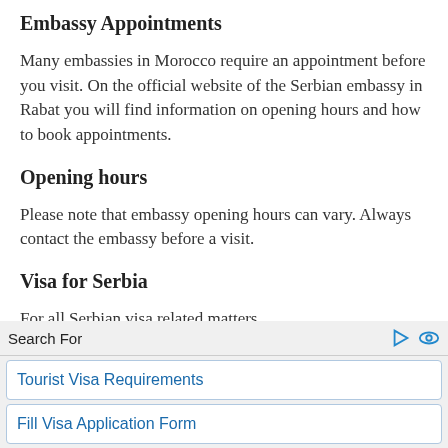Embassy Appointments
Many embassies in Morocco require an appointment before you visit. On the official website of the Serbian embassy in Rabat you will find information on opening hours and how to book appointments.
Opening hours
Please note that embassy opening hours can vary. Always contact the embassy before a visit.
Visa for Serbia
For all Serbian visa related matters
Search For
Tourist Visa Requirements
Fill Visa Application Form